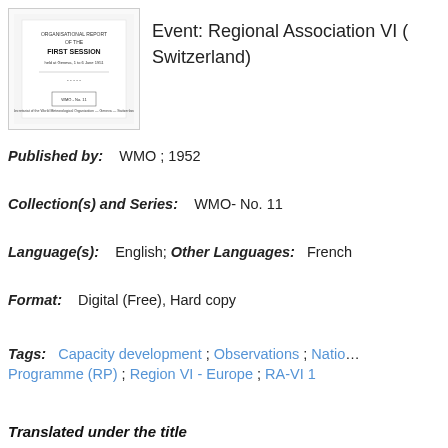[Figure (illustration): Thumbnail image of a document cover page titled 'FIRST SESSION']
Event: Regional Association VI (Switzerland)
Published by:   WMO ; 1952
Collection(s) and Series:   WMO- No. 11
Language(s):   English; Other Languages:   French
Format:   Digital (Free), Hard copy
Tags:   Capacity development ; Observations ; National Programme (RP) ; Region VI - Europe ; RA-VI 1
Translated under the title